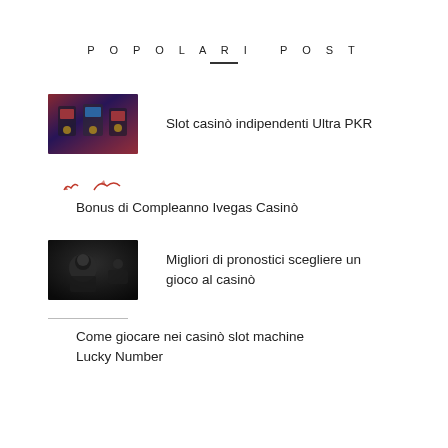POPOLARI POST
Slot casinò indipendenti Ultra PKR
Bonus di Compleanno Ivegas Casinò
Migliori di pronostici scegliere un gioco al casinò
Come giocare nei casinò slot machine Lucky Number